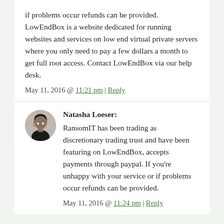if problems occur refunds can be provided. LowEndBox is a website dedicated for running websites and services on low end virtual private servers where you only need to pay a few dollars a month to get full root access. Contact LowEndBox via our help desk.
May 11, 2016 @ 11:21 pm | Reply
Natasha Loeser:
RansomIT has been trading as discretionary trading trust and have been featuring on LowEndBox, accepts payments through paypal. If you're unhappy with your service or if problems occur refunds can be provided.
May 11, 2016 @ 11:24 pm | Reply